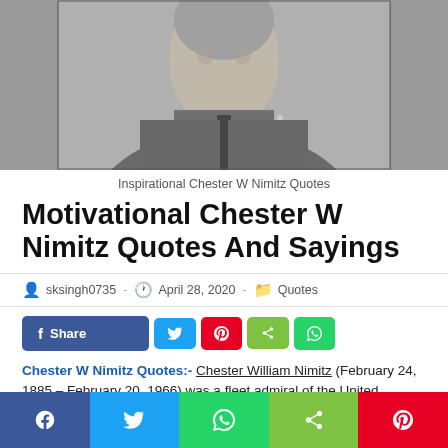[Figure (photo): Black and white photograph of Chester W Nimitz in military uniform with medals and insignia]
Inspirational Chester W Nimitz Quotes
Motivational Chester W Nimitz Quotes And Sayings
sksingh0735  -  April 28, 2020  -  Quotes
[Figure (screenshot): Social sharing buttons: Facebook Share, Twitter, Pinterest, share icon, WhatsApp]
Chester W Nimitz Quotes:- Chester William Nimitz (February 24, 1885 – February 20, 1966) was a fleet admiral of the United
[Figure (screenshot): Bottom social sharing bar: Facebook, Twitter, WhatsApp, share, Pinterest]